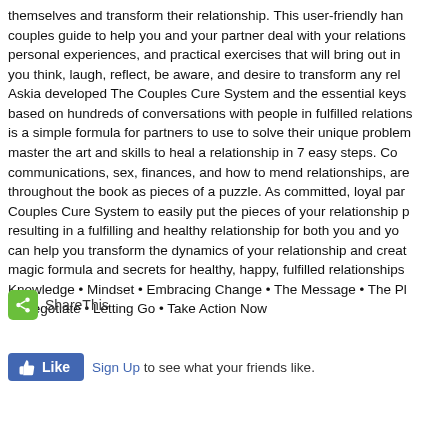themselves and transform their relationship. This user-friendly hand couples guide to help you and your partner deal with your relationships personal experiences, and practical exercises that will bring out inc you think, laugh, reflect, be aware, and desire to transform any rela Askia developed The Couples Cure System and the essential keys based on hundreds of conversations with people in fulfilled relations is a simple formula for partners to use to solve their unique problem master the art and skills to heal a relationship in 7 easy steps. Cou communications, sex, finances, and how to mend relationships, are throughout the book as pieces of a puzzle. As committed, loyal part Couples Cure System to easily put the pieces of your relationship p resulting in a fulfilling and healthy relationship for both you and your can help you transform the dynamics of your relationship and create magic formula and secrets for healthy, happy, fulfilled relationships Knowledge • Mindset • Embracing Change • The Message • The Pl Renegotiate • Letting Go • Take Action Now
[Figure (other): ShareThis social sharing button with green icon]
[Figure (other): Facebook Like button with blue background and Sign Up link]